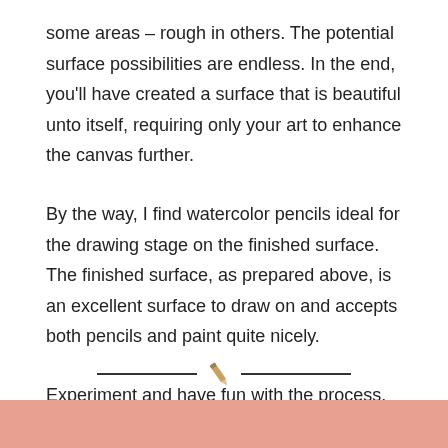some areas – rough in others. The potential surface possibilities are endless. In the end, you'll have created a surface that is beautiful unto itself, requiring only your art to enhance the canvas further.
By the way, I find watercolor pencils ideal for the drawing stage on the finished surface. The finished surface, as prepared above, is an excellent surface to draw on and accepts both pencils and paint quite nicely.
Experiment and have fun with the process.
— [pencil icon] —